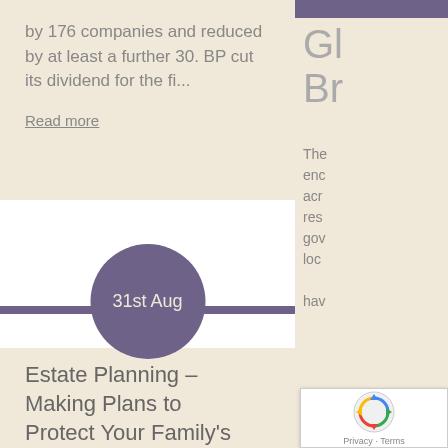by 176 companies and reduced by at least a further 30. BP cut its dividend for the fi...
Read more
31st Aug
Estate Planning – Making Plans to Protect Your Family's Financial Future
Gl... Br...
The enc acr res gov loc hav